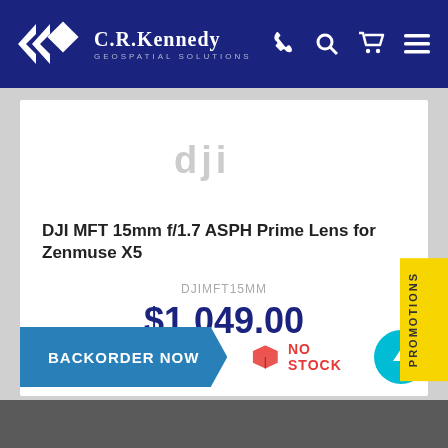[Figure (logo): C.R. Kennedy Geospatial Solutions logo with diamond/arrow icon in white on dark blue header, with phone, search, cart, and menu icons]
[Figure (logo): DJI logo watermark in light gray]
DJI MFT 15mm f/1.7 ASPH Prime Lens for Zenmuse X5
DJIMFT15MM
$1,049.00
BACKORDER NOW
NO STOCK
PROMOTIONS